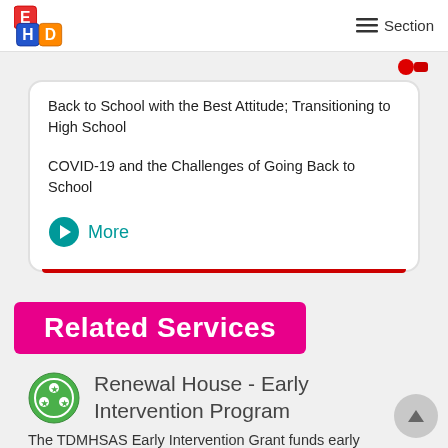Section
Back to School with the Best Attitude; Transitioning to High School
COVID-19 and the Challenges of Going Back to School
More
Related Services
Renewal House - Early Intervention Program
The TDMHSAS Early Intervention Grant funds early